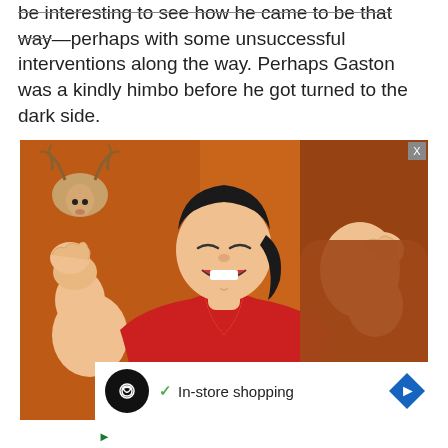be interesting to see how he came to be that way—perhaps with some unsuccessful interventions along the way. Perhaps Gaston was a kindly himbo before he got turned to the dark side.
[Figure (illustration): Animated illustration of Gaston from Beauty and the Beast, a muscular man in a red shirt flexing both arms with a confident grin, against an orange/brown tavern background. A deer head is visible in the upper left.]
[Figure (screenshot): Ad overlay banner showing a black circle icon with infinity-loop symbol, a green checkmark with text 'In-store shopping', and a blue diamond-shaped navigation arrow icon. Below are two small icons (triangle play button and X).]